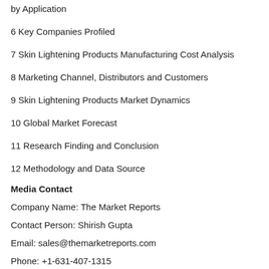by Application
6 Key Companies Profiled
7 Skin Lightening Products Manufacturing Cost Analysis
8 Marketing Channel, Distributors and Customers
9 Skin Lightening Products Market Dynamics
10 Global Market Forecast
11 Research Finding and Conclusion
12 Methodology and Data Source
Media Contact
Company Name: The Market Reports
Contact Person: Shirish Gupta
Email: sales@themarketreports.com
Phone: +1-631-407-1315